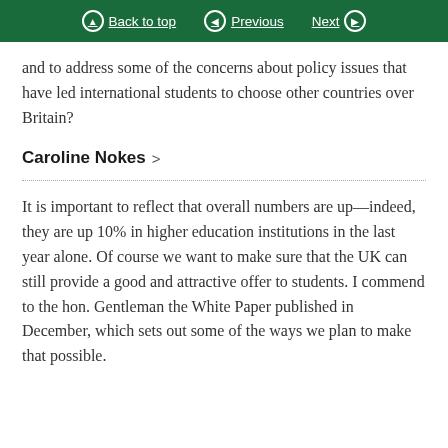Back to top | Previous | Next
and to address some of the concerns about policy issues that have led international students to choose other countries over Britain?
Caroline Nokes >
It is important to reflect that overall numbers are up—indeed, they are up 10% in higher education institutions in the last year alone. Of course we want to make sure that the UK can still provide a good and attractive offer to students. I commend to the hon. Gentleman the White Paper published in December, which sets out some of the ways we plan to make that possible.